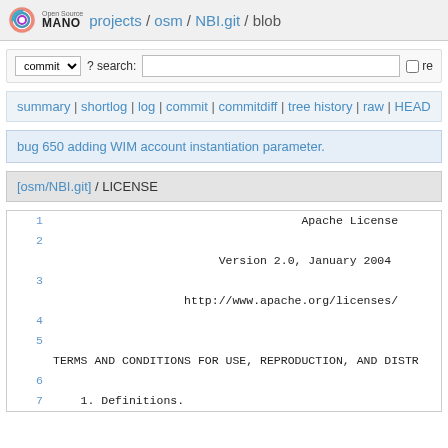Open Source MANO  projects / osm / NBI.git / blob
commit  ? search:   re
summary | shortlog | log | commit | commitdiff | tree history | raw | HEAD
bug 650 adding WIM account instantiation parameter.
[osm/NBI.git] / LICENSE
1  Apache License
2  Version 2.0, January 2004
3  http://www.apache.org/licenses/
4
5
  TERMS AND CONDITIONS FOR USE, REPRODUCTION, AND DISTR
6
7      1. Definitions.